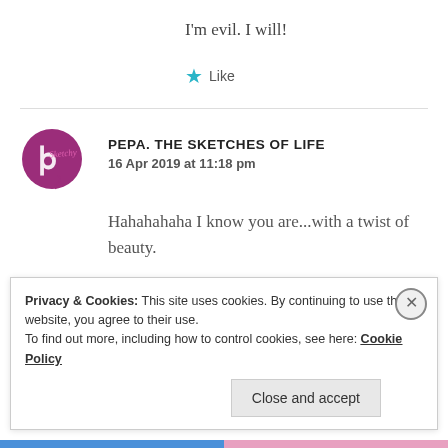I'm evil. I will!
★ Like
[Figure (logo): Pepa The Sketches of Life circular logo with purple/magenta circle and cursive text]
PEPA. THE SKETCHES OF LIFE
16 Apr 2019 at 11:18 pm
Hahahahaha I know you are...with a twist of beauty.
Privacy & Cookies: This site uses cookies. By continuing to use this website, you agree to their use.
To find out more, including how to control cookies, see here: Cookie Policy
Close and accept